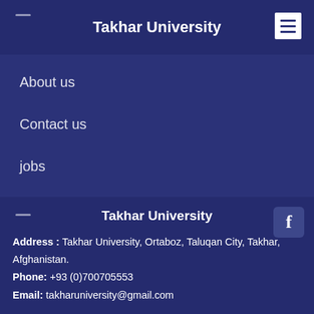Takhar University
About us
Contact us
jobs
Takhar University
Address : Takhar University, Ortaboz, Taluqan City, Takhar, Afghanistan.
Phone: +93 (0)700705553
Email: takharuniversity@gmail.com